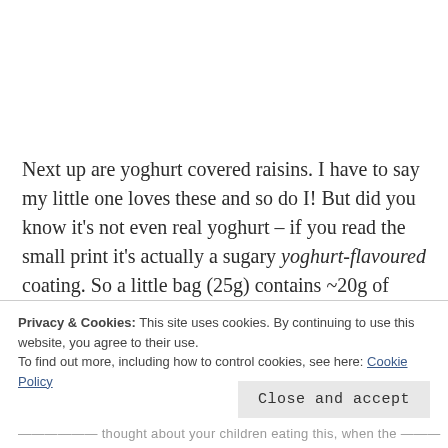Next up are yoghurt covered raisins. I have to say my little one loves these and so do I! But did you know it's not even real yoghurt – if you read the small print it's actually a sugary yoghurt-flavoured coating. So a little bag (25g) contains ~20g of sugar. That's 4
Privacy & Cookies: This site uses cookies. By continuing to use this website, you agree to their use.
To find out more, including how to control cookies, see here: Cookie Policy
Close and accept
…thought about your children eating this, when the…